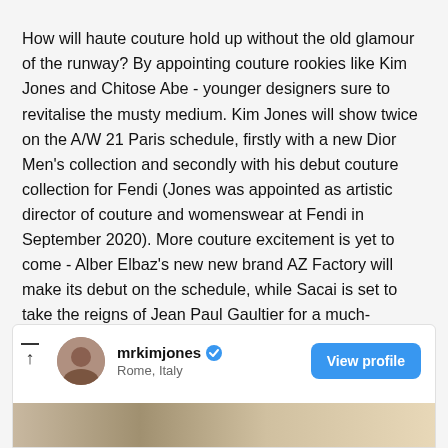How will haute couture hold up without the old glamour of the runway? By appointing couture rookies like Kim Jones and Chitose Abe - younger designers sure to revitalise the musty medium. Kim Jones will show twice on the A/W 21 Paris schedule, firstly with a new Dior Men's collection and secondly with his debut couture collection for Fendi (Jones was appointed as artistic director of couture and womenswear at Fendi in September 2020). More couture excitement is yet to come - Alber Elbaz's new new brand AZ Factory will make its debut on the schedule, while Sacai is set to take the reigns of Jean Paul Gaultier for a much-anticipated show (this will also be Chitose Abe's first time at couture).
[Figure (screenshot): Instagram profile card for mrkimjones showing verified badge, Rome Italy location, and a View profile button with a partial image strip below]